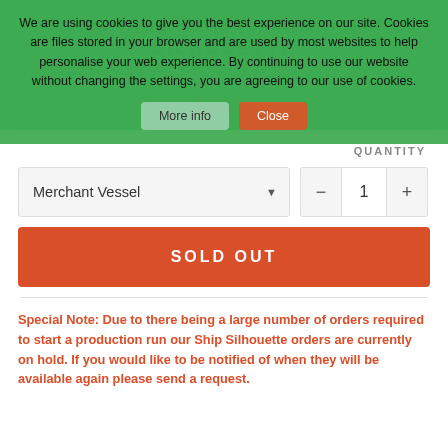PURCHASE & SPONSOR A SHIP SILHOUETTE
£50.00
We are using cookies to give you the best experience on our site. Cookies are files stored in your browser and are used by most websites to help personalise your web experience. By continuing to use our website without changing the settings, you are agreeing to our use of cookies.
QUANTITY
Merchant Vessel
1
SOLD OUT
Special Note:  Due to there being a large number of orders required to start a production run our Ship Silhouette orders are currently on hold.  If you would like to be notified of when they will be available again please send a request.